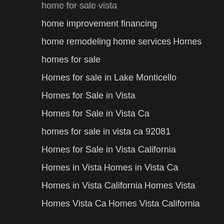home for sale vista
home improvement financing
home remodeling
home services
Homes
homes for sale
Homes for sale in Lake Monticello
Homes for Sale in Vista
Homes for Sale in Vista Ca
homes for sale in vista ca 92081
Homes for Sale in Vista California
Homes in Vista
Homes in Vista Ca
Homes in Vista California
Homes Vista
Homes Vista Ca
Homes Vista California